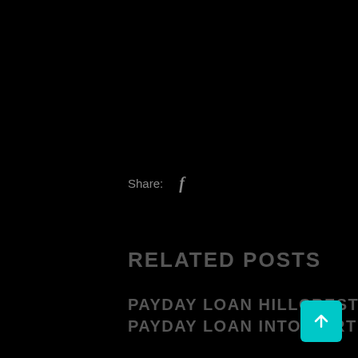Share:  f
RELATED POSTS
PAYDAY LOAN HILLCREST CALIFORNIA. WOULD YOU LIKE A PAYDAY LOAN INTO NORTH PARK, CALIFORNIA?